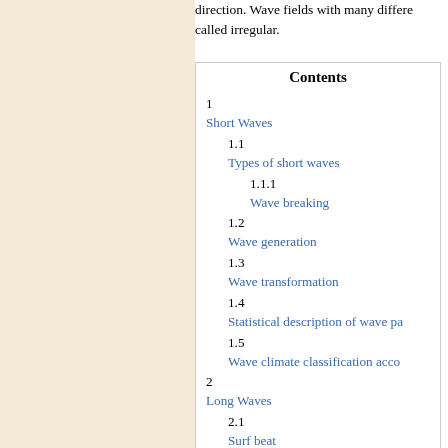characterized by a wave height, period and direction. Wave fields with many different directions are called irregular.
Contents
1 Short Waves
1.1 Types of short waves
1.1.1 Wave breaking
1.2 Wave generation
1.3 Wave transformation
1.4 Statistical description of wave pa...
1.5 Wave climate classification acco...
2 Long Waves
2.1 Surf beat
2.2 Harbour resonance
2.3 Lake seiche
2.4 Tsunami
3 [1]Infragravity waves
4 Measurement of Waves
5 Related articles
6 References